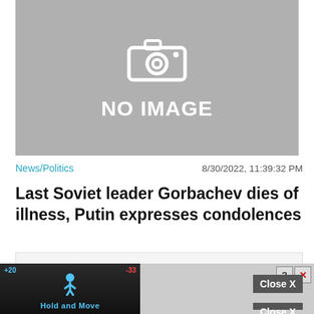[Figure (other): Grey placeholder image with camera icon and NO IMAGE text]
News/Politics
8/30/2022, 11:39:32 PM
Last Soviet leader Gorbachev dies of illness, Putin expresses condolences
[Figure (screenshot): Advertisement placeholder with Close X button and Hold and Move game ad banner at bottom]